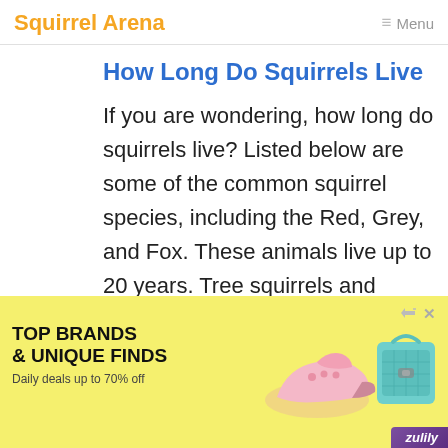Squirrel Arena  ≡ Menu
How Long Do Squirrels Live
If you are wondering, how long do squirrels live? Listed below are some of the common squirrel species, including the Red, Grey, and Fox. These animals live up to 20 years. Tree squirrels and
[Figure (other): Advertisement banner with yellow background showing 'TOP BRANDS & UNIQUE FINDS' and 'Daily deals up to 70% off' with images of shoes and a teal purse, branded Zulily]